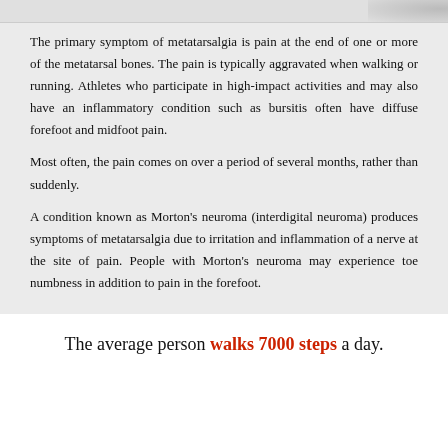[Figure (photo): Partial image visible at the top of the page, appears to be a medical or foot-related photograph, mostly cropped out with a gray background.]
The primary symptom of metatarsalgia is pain at the end of one or more of the metatarsal bones. The pain is typically aggravated when walking or running. Athletes who participate in high-impact activities and may also have an inflammatory condition such as bursitis often have diffuse forefoot and midfoot pain.
Most often, the pain comes on over a period of several months, rather than suddenly.
A condition known as Morton's neuroma (interdigital neuroma) produces symptoms of metatarsalgia due to irritation and inflammation of a nerve at the site of pain. People with Morton's neuroma may experience toe numbness in addition to pain in the forefoot.
The average person walks 7000 steps a day.